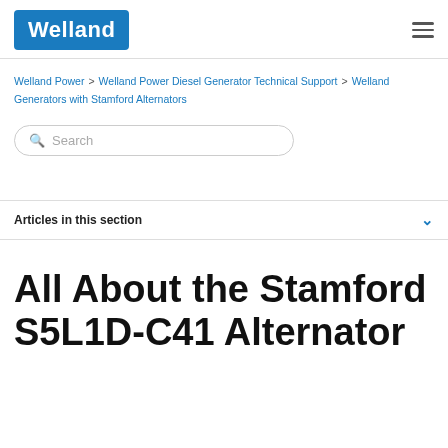[Figure (logo): Welland logo — white text on blue rounded rectangle background]
Welland Power > Welland Power Diesel Generator Technical Support > Welland Generators with Stamford Alternators
Search
Articles in this section
All About the Stamford S5L1D-C41 Alternator